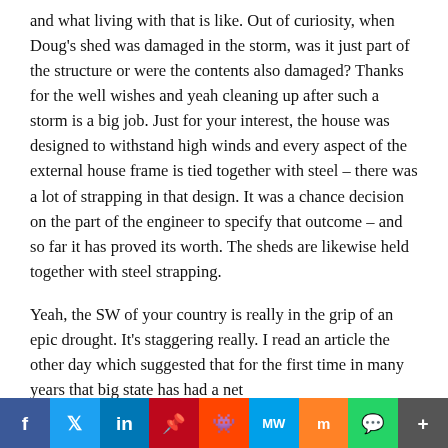and what living with that is like. Out of curiosity, when Doug's shed was damaged in the storm, was it just part of the structure or were the contents also damaged? Thanks for the well wishes and yeah cleaning up after such a storm is a big job. Just for your interest, the house was designed to withstand high winds and every aspect of the external house frame is tied together with steel – there was a lot of strapping in that design. It was a chance decision on the part of the engineer to specify that outcome – and so far it has proved its worth. The sheds are likewise held together with steel strapping.
Yeah, the SW of your country is really in the grip of an epic drought. It's staggering really. I read an article the other day which suggested that for the first time in many years that big state has had a net
f | Twitter | in | P | reddit | MW | Mix | WhatsApp | More